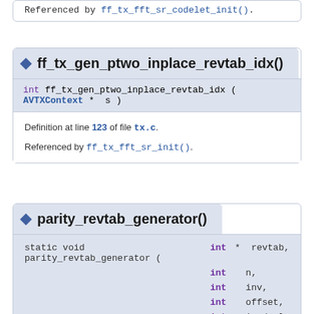Referenced by ff_tx_fft_sr_codelet_init().
ff_tx_gen_ptwo_inplace_revtab_idx()
int ff_tx_gen_ptwo_inplace_revtab_idx ( AVTXContext * s )
Definition at line 123 of file tx.c.
Referenced by ff_tx_fft_sr_init().
parity_revtab_generator()
static void parity_revtab_generator ( int * revtab, int n, int inv, int offset, int is_dual, int ...